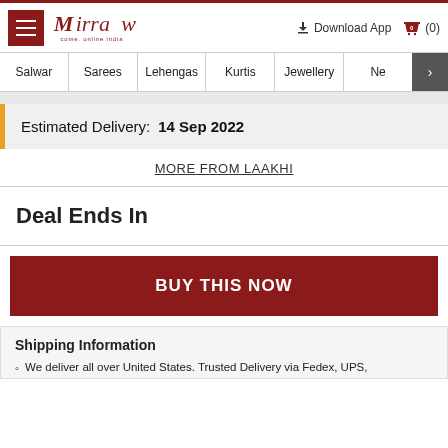Mirraw — Download App (0)
Salwar | Sarees | Lehengas | Kurtis | Jewellery | Ne >
Estimated Delivery:  14 Sep 2022
MORE FROM LAAKHI
Deal Ends In
BUY THIS NOW
Shipping Information
We deliver all over United States. Trusted Delivery via Fedex, UPS,